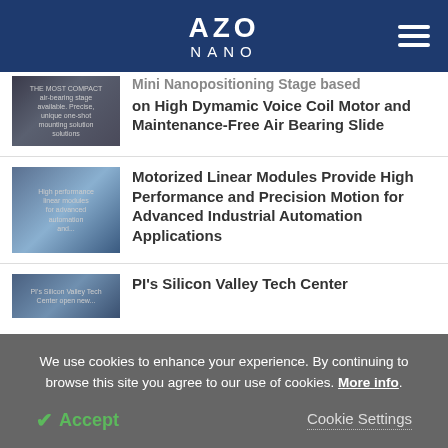AZO NANO
Mini Nanopositioning Stage based on High Dymamic Voice Coil Motor and Maintenance-Free Air Bearing Slide
Motorized Linear Modules Provide High Performance and Precision Motion for Advanced Industrial Automation Applications
PI's Silicon Valley Tech Center
We use cookies to enhance your experience. By continuing to browse this site you agree to our use of cookies. More info.
Accept
Cookie Settings